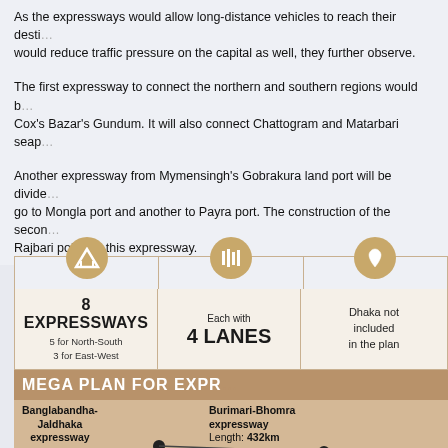As the expressways would allow long-distance vehicles to reach their destinations without entering Dhaka, it would reduce traffic pressure on the capital as well, they further observe.
The first expressway to connect the northern and southern regions would be from Mymensingh's Gobrakura to Cox's Bazar's Gundum. It will also connect Chattogram and Matarbari seaport.
Another expressway from Mymensingh's Gobrakura land port will be divided into two — one arm will go to Mongla port and another to Payra port. The construction of the second Padma Bridge will be at Rajbari point for this expressway.
The expressway from Bhomra land port in Satkhira will split into two parts at Dhaka's Aminbazar — one towards Panchagarh's Banglabandha land port and the other towards Burimari land port in Lalmonirhat.
[Figure (infographic): Infographic showing 8 Expressways (5 for North-South, 3 for East-West), Each with 4 Lanes, Dhaka not included in the plan. Below: MEGA PLAN FOR EXPRESSWAYS banner. Map section showing Banglabandha-Jaldhaka expressway (Length: 85km) and Burimari-Bhomra expressway (Length: 432km).]